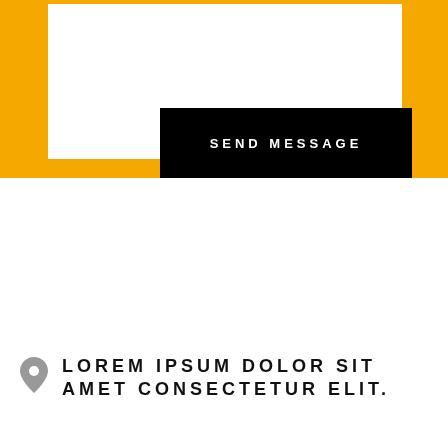[Figure (screenshot): Yellow background form section with a white textarea input box and a black 'SEND MESSAGE' button below it.]
LOREM IPSUM DOLOR SIT AMET CONSECTETUR ELIT.